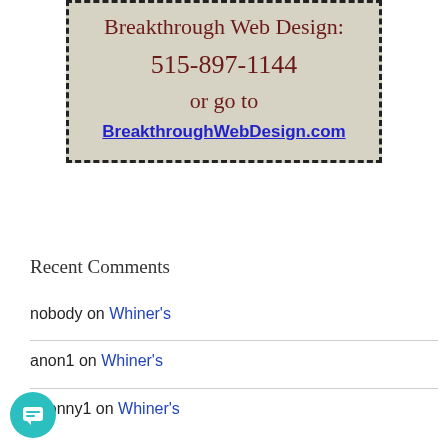[Figure (other): Advertisement box with dashed border and beige background for Breakthrough Web Design showing phone number 515-897-1144 and website BreakthroughWebDesign.com]
Recent Comments
nobody on Whiner's
anon1 on Whiner's
anonny1 on Whiner's